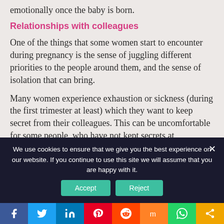emotionally once the baby is born.
Relationships with colleagues
One of the things that some women start to encounter during pregnancy is the sense of juggling different priorities to the people around them, and the sense of isolation that can bring.
Many women experience exhaustion or sickness (during the first trimester at least) which they want to keep secret from their colleagues. This can be uncomfortable for some people, who have not kept secrets at
We use cookies to ensure that we give you the best experience on our website. If you continue to use this site we will assume that you are happy with it.